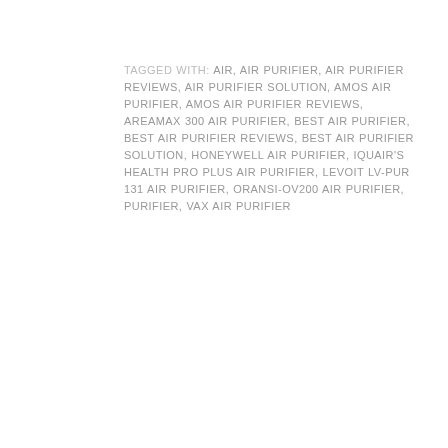TAGGED WITH: AIR, AIR PURIFIER, AIR PURIFIER REVIEWS, AIR PURIFIER SOLUTION, AMOS AIR PURIFIER, AMOS AIR PURIFIER REVIEWS, AREAMAX 300 AIR PURIFIER, BEST AIR PURIFIER, BEST AIR PURIFIER REVIEWS, BEST AIR PURIFIER SOLUTION, HONEYWELL AIR PURIFIER, IQUAIR'S HEALTH PRO PLUS AIR PURIFIER, LEVOIT LV-PUR 131 AIR PURIFIER, ORANSI-OV200 AIR PURIFIER, PURIFIER, VAX AIR PURIFIER